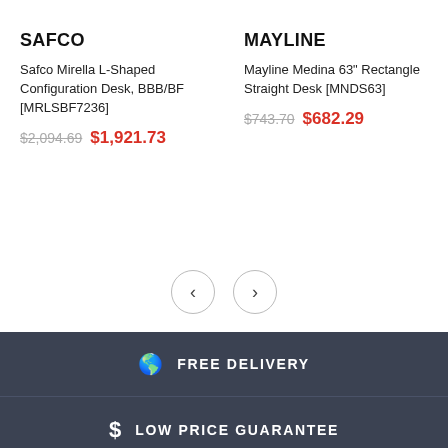SAFCO
Safco Mirella L-Shaped Configuration Desk, BBB/BF [MRLSBF7236]
$2,094.69  $1,921.73
MAYLINE
Mayline Medina 63" Rectangle Straight Desk [MNDS63]
$743.70  $682.29
< >
FREE DELIVERY
LOW PRICE GUARANTEE
A+ CUSTOMER SERVICE